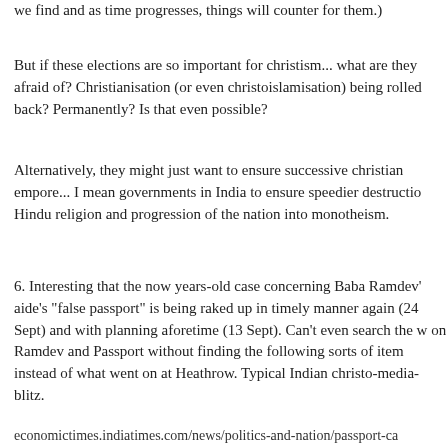we find and as time progresses, things will counter for them.)
But if these elections are so important for christism... what are they afraid of? Christianisation (or even christoislamisation) being rolled back? Permanently? Is that even possible?
Alternatively, they might just want to ensure successive christian empore... I mean governments in India to ensure speedier destruction Hindu religion and progression of the nation into monotheism.
6. Interesting that the now years-old case concerning Baba Ramdev's aide's "false passport" is being raked up in timely manner again (24 Sept) and with planning aforetime (13 Sept). Can't even search the w on Ramdev and Passport without finding the following sorts of item instead of what went on at Heathrow. Typical Indian christo-media-blitz.
economictimes.indiatimes.com/news/politics-and-nation/passport-ca